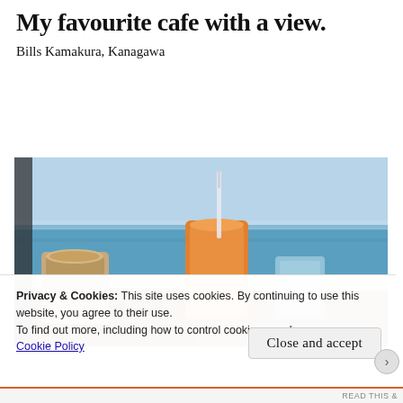My favourite cafe with a view.
Bills Kamakura, Kanagawa
[Figure (photo): Photo of drinks (a coffee/latte and an orange juice with straw) on a cafe table overlooking a sandy beach and blue ocean, with people visible on the beach in the background.]
Privacy & Cookies: This site uses cookies. By continuing to use this website, you agree to their use.
To find out more, including how to control cookies, see here:
Cookie Policy
Close and accept